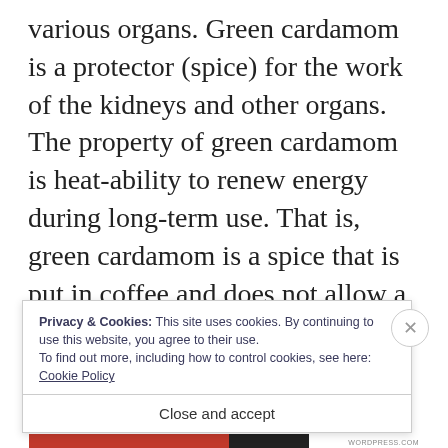various organs. Green cardamom is a protector (spice) for the work of the kidneys and other organs. The property of green cardamom is heat-ability to renew energy during long-term use. That is, green cardamom is a spice that is put in coffee and does not allow a decrease in energy when drinking coffee. This simple recipe helps to avoid many health problems. Put two green cardamom pods (which you have previously
Privacy & Cookies: This site uses cookies. By continuing to use this website, you agree to their use.
To find out more, including how to control cookies, see here: Cookie Policy
Close and accept